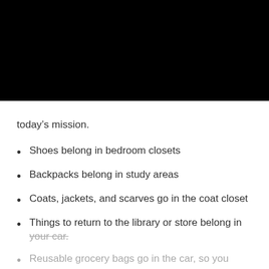[Figure (photo): Black rectangle covering the top portion of the page, representing an image or video placeholder]
today's mission.
Shoes belong in bedroom closets
Backpacks belong in study areas
Coats, jackets, and scarves go in the coat closet
Things to return to the library or store belong in your car.
Reusable grocery bags go in the car, so you